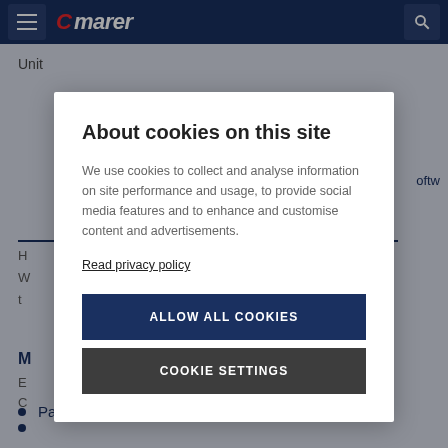[Figure (screenshot): Marel website navigation bar with hamburger menu icon, Marel logo in red and white italic text, and search icon on dark navy blue background]
Unit
oftw
H
W
t
M
E
C
About cookies on this site
We use cookies to collect and analyse information on site performance and usage, to provide social media features and to enhance and customise content and advertisements.
Read privacy policy
ALLOW ALL COOKIES
COOKIE SETTINGS
Packing take-away (TAW) conveyor